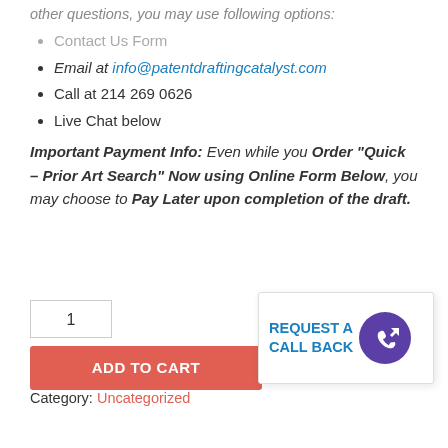other questions, you may use following options:
Contact Us Form
Email at info@patentdraftingcatalyst.com
Call at 214 269 0626
Live Chat below
Important Payment Info: Even while you Order “Quick – Prior Art Search” Now using Online Form Below, you may choose to Pay Later upon completion of the draft.
1
ADD TO CART
REQUEST A CALL BACK
Category: Uncategorized